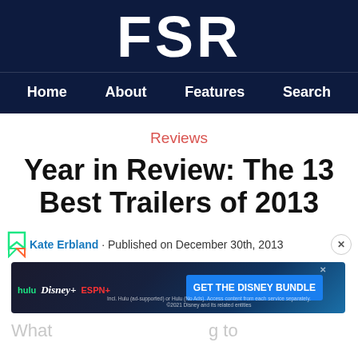FSR
Home  About  Features  Search
Reviews
Year in Review: The 13 Best Trailers of 2013
By Kate Erbland · Published on December 30th, 2013
[Figure (other): Hulu Disney+ ESPN+ advertisement banner: GET THE DISNEY BUNDLE]
What … g to